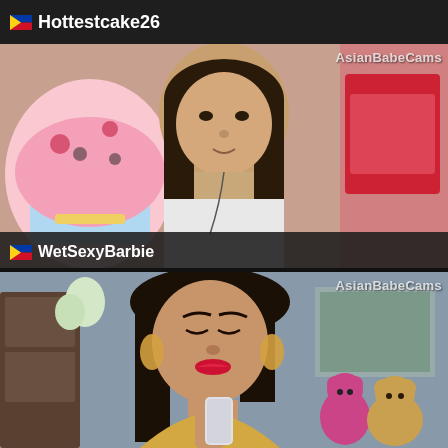🇵🇭 Hottestcake26
[Figure (screenshot): Webcam screenshot of a young Asian woman with long dark hair wearing a white t-shirt, sitting in front of a colorful cupcake-themed background. Watermark 'AsianBabeCams' visible in top-right corner. Username 'WetSexyBarbie' shown at bottom-left with Philippine flag.]
[Figure (screenshot): Webcam screenshot of an Asian woman with dark hair, wearing gold earrings and a yellow/gold top, holding a phone, with red lipstick. Teddy bears visible in the background. Watermark 'AsianBabeCams' in top-right corner.]